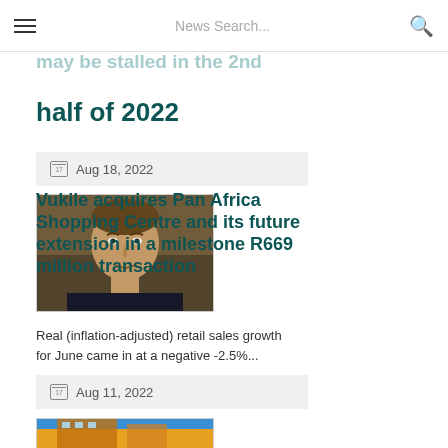News Search...
expectation that the retail property recovery may be stalled in the 2nd half of 2022
Aug 18, 2022
[Figure (photo): Headshot of a man in a dark suit, light background]
Real (inflation-adjusted) retail sales growth for June came in at a negative -2.5%...
Vukile acquires Pan Africa Shopping Centre and its future extension in a milestone R669 million transaction
Aug 11, 2022
[Figure (photo): Building exterior photo with blue sky]